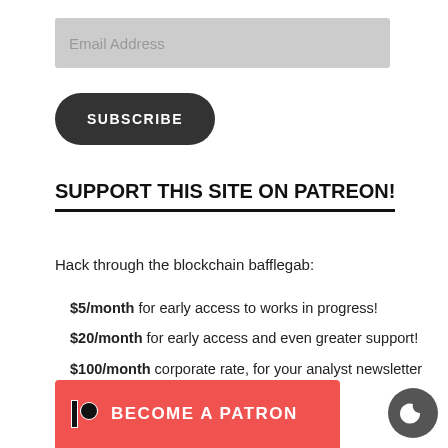Email Address
SUBSCRIBE
SUPPORT THIS SITE ON PATREON!
Hack through the blockchain bafflegab:
$5/month for early access to works in progress!
$20/month for early access and even greater support!
$100/month corporate rate, for your analyst newsletter budget!
[Figure (other): Red Patreon BECOME A PATRON button with Patreon logo icon]
[Figure (other): Dark grey circular moon/crescent icon button]